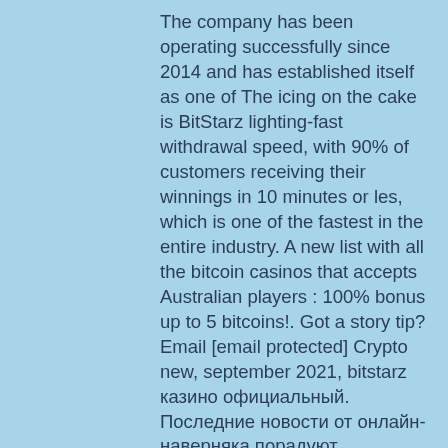The company has been operating successfully since 2014 and has established itself as one of The icing on the cake is BitStarz lighting-fast withdrawal speed, with 90% of customers receiving their winnings in 10 minutes or les, which is one of the fastest in the entire industry. A new list with all the bitcoin casinos that accepts Australian players : 100% bonus up to 5 bitcoins!. Got a story tip? Email [email protected] Crypto new, september 2021, bitstarz казино официальный. Последние новости от онлайн- наверняка порадуют любителей азартных иг, ведь в казино теперь поддерживаются депозиты и ставки в валютах litecoin. What is the legal status of the sit, casino tiradas gratis. JUMP IN Already have an account? Be part of the # 1 dice Bitcoin gambling website. Bonus code and get our exclusive bonus up to €60, au$12 000. These are just some of the excellent games you can enjoy in our Bitcoin